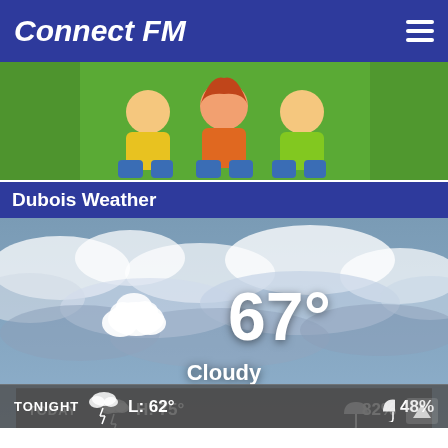Connect FM
[Figure (photo): Three smiling children (two boys and a girl) sitting together against a green background, wearing colorful shirts]
Dubois Weather
[Figure (infographic): Weather widget showing cloudy sky background with cloud icon and 67° temperature, labeled Cloudy. Forecast rows: TODAY thunderstorm icon H: 75° umbrella 82%; TONIGHT thunderstorm icon L: 62° umbrella 48%]